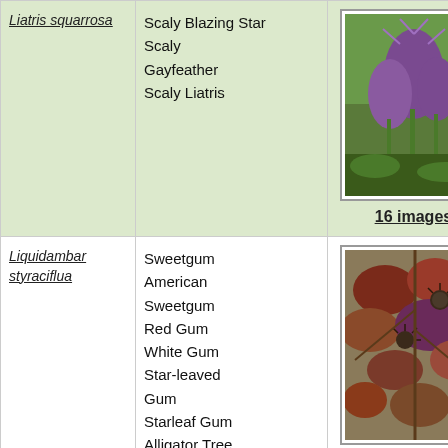| Scientific Name | Common Names | Images |
| --- | --- | --- |
| Liatris squarrosa | Scaly Blazing Star
Scaly Gayfeather
Scaly Liatris | 16 images |
| Liquidambar styraciflua | Sweetgum
American Sweetgum
Red Gum
White Gum
Star-leaved Gum
Starleaf Gum
Alligator Tree
Satin Walnut
Bilsted
Liquidambar | 72 images |